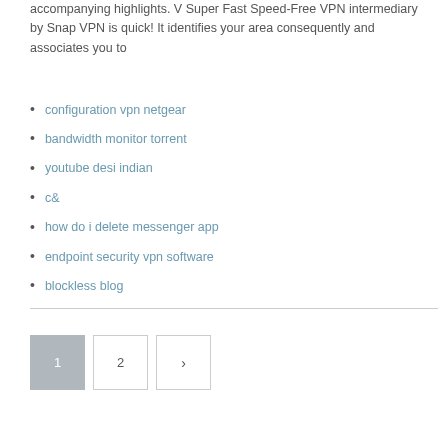accompanying highlights. V Super Fast Speed-Free VPN intermediary by Snap VPN is quick! It identifies your area consequently and associates you to
configuration vpn netgear
bandwidth monitor torrent
youtube desi indian
c&
how do i delete messenger app
endpoint security vpn software
blockless blog